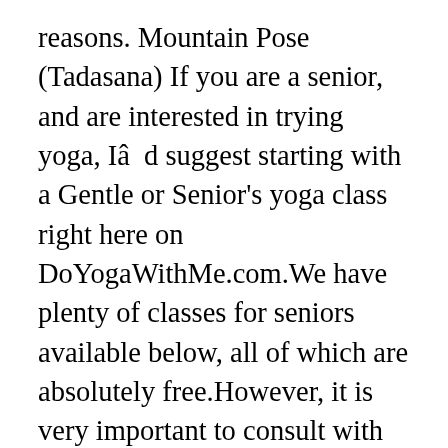reasons. Mountain Pose (Tadasana) If you are a senior, and are interested in trying yoga, Iâd suggest starting with a Gentle or Senior's yoga class right here on DoYogaWithMe.com.We have plenty of classes for seniors available below, all of which are absolutely free.However, it is very important to consult with your doctor before starting a new exercise program, particularly if you have major health concerns or injuries. Would you like to share your feedback? First, I want to thank you for stopping by to read this post about yoga for older men. Massages the digestive organs and improves digestion. Yoga is great for focus, concentration, and emotional wellbeing. You like lifting weights but now you canât touch